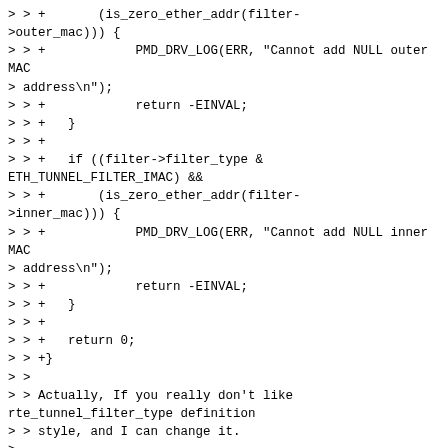> > +       (is_zero_ether_addr(filter->outer_mac))) {
> > +            PMD_DRV_LOG(ERR, "Cannot add NULL outer MAC
> address\n");
> > +            return -EINVAL;
> > +   }
> > +
> > +   if ((filter->filter_type &
ETH_TUNNEL_FILTER_IMAC) &&
> > +       (is_zero_ether_addr(filter->inner_mac))) {
> > +            PMD_DRV_LOG(ERR, "Cannot add NULL inner MAC
> address\n");
> > +            return -EINVAL;
> > +   }
> > +
> > +   return 0;
> > +}
> >
> > Actually, If you really don't like rte_tunnel_filter_type definition
> > style, and I can change it.
>
> Yes, you can just  replace this "enum rte_tunnel_filter_type" by an integer
> like uint16_t. It won't change your tests.

Ok, thanks.
>